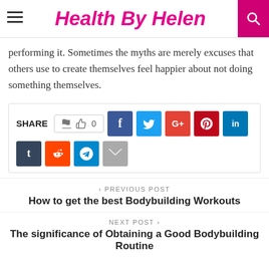Health By Helen
performing it. Sometimes the myths are merely excuses that others use to create themselves feel happier about not doing something themselves.
[Figure (infographic): Social share bar with like button showing 0 likes, and social media icons for Facebook, Twitter, Google+, Pinterest, LinkedIn, Tumblr, Reddit, Telegram, and Email]
< PREVIOUS POST
How to get the best Bodybuilding Workouts
NEXT POST >
The significance of Obtaining a Good Bodybuilding Routine